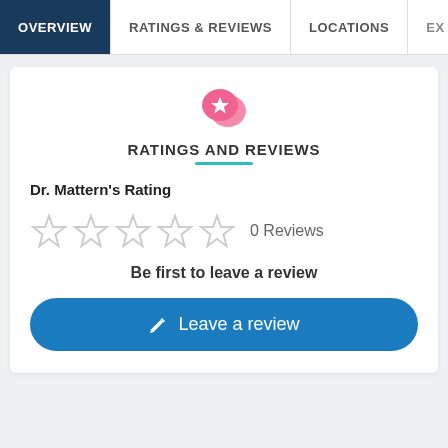OVERVIEW | RATINGS & REVIEWS | LOCATIONS | EX
[Figure (illustration): Pink speech bubble icon with a white star inside]
RATINGS AND REVIEWS
Dr. Mattern's Rating
0 Reviews
Be first to leave a review
Leave a review